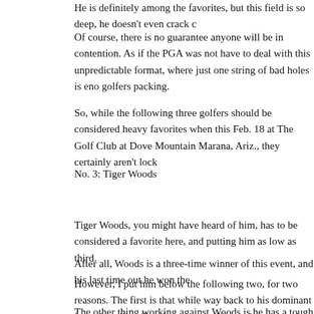He is definitely among the favorites, but this field is so deep, he doesn't even crack c
Of course, there is no guarantee anyone will be in contention. As if the PGA was not have to deal with this unpredictable format, where just one string of bad holes is eno golfers packing.
So, while the following three golfers should be considered heavy favorites when this Feb. 18 at The Golf Club at Dove Mountain Marana, Ariz., they certainly aren't lock
No. 3: Tiger Woods
Tiger Woods, you might have heard of him, has to be considered a favorite here, and putting him as low as third.
After all, Woods is a three-time winner of this event, and his last time out he won the
However, I put him below the following two, for two reasons. The first is that while way back to his dominant form, he still suffers from bouts of inconsistency, and ther play setting.
The other thing working against Woods is he has a tough bracket. Defending champi Webb Simpson and Martin Kaymer, who was runner up here in 2011 all reside in Wo